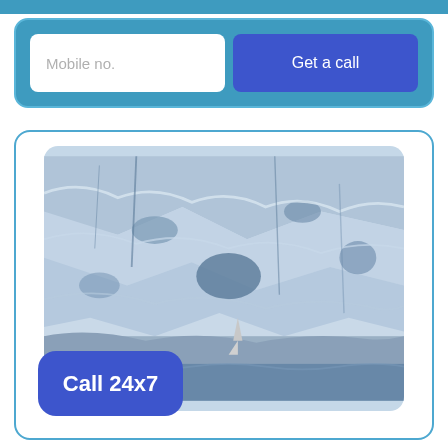Mobile no.
Get a call
[Figure (photo): A large glacier face with dramatic blue-grey ice formations and a small sailboat at the base near the water line.]
Call 24x7